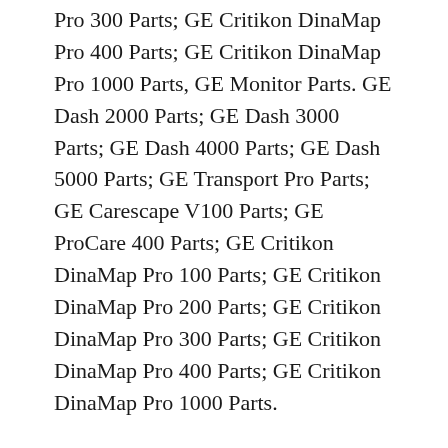Pro 300 Parts; GE Critikon DinaMap Pro 400 Parts; GE Critikon DinaMap Pro 1000 Parts, GE Monitor Parts. GE Dash 2000 Parts; GE Dash 3000 Parts; GE Dash 4000 Parts; GE Dash 5000 Parts; GE Transport Pro Parts; GE Carescape V100 Parts; GE ProCare 400 Parts; GE Critikon DinaMap Pro 100 Parts; GE Critikon DinaMap Pro 200 Parts; GE Critikon DinaMap Pro 300 Parts; GE Critikon DinaMap Pro 400 Parts; GE Critikon DinaMap Pro 1000 Parts.
GE Monitor Parts. GE Dash 2000 Parts; GE Dash 3000 Parts; GE Dash 4000 Parts; GE Dash 5000 Parts; GE Transport Pro Parts; GE Carescape V100 Parts; GE ProCare 400 Parts; GE Critikon DinaMap Pro 100 Parts; GE Critikon DinaMap Pro